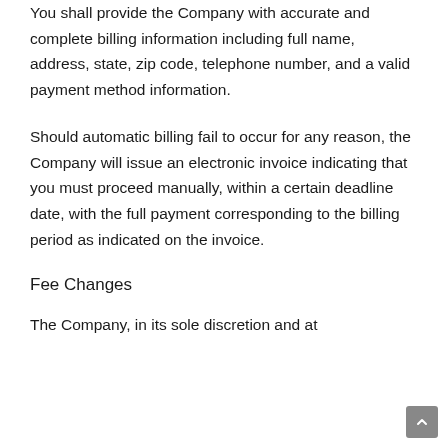You shall provide the Company with accurate and complete billing information including full name, address, state, zip code, telephone number, and a valid payment method information.
Should automatic billing fail to occur for any reason, the Company will issue an electronic invoice indicating that you must proceed manually, within a certain deadline date, with the full payment corresponding to the billing period as indicated on the invoice.
Fee Changes
The Company, in its sole discretion and at